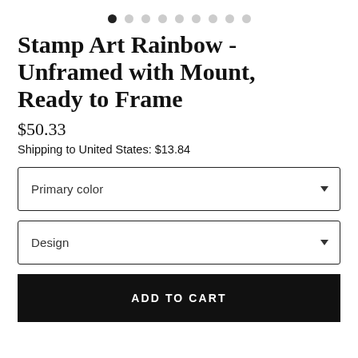[Figure (other): Carousel dots navigation — 9 dots, first dot filled/black, rest gray]
Stamp Art Rainbow - Unframed with Mount, Ready to Frame
$50.33
Shipping to United States: $13.84
Primary color
Design
ADD TO CART